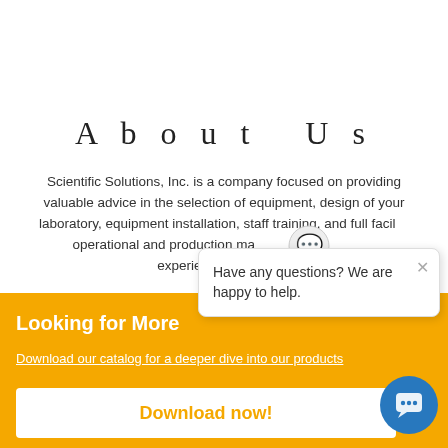[Figure (illustration): Navy blue decorative arc/wave at the top of the page, partially visible.]
About Us
Scientific Solutions, Inc. is a company focused on providing valuable advice in the selection of equipment, design of your laboratory, equipment installation, staff training, and full facility operational and production management. We have over 25 years of experience in advising...
Looking for More
Download our catalog for a deeper dive into our products
Download now!
[Figure (illustration): Chat popup widget with message: Have any questions? We are happy to help. With a close (X) button and a chat bubble icon at bottom right.]